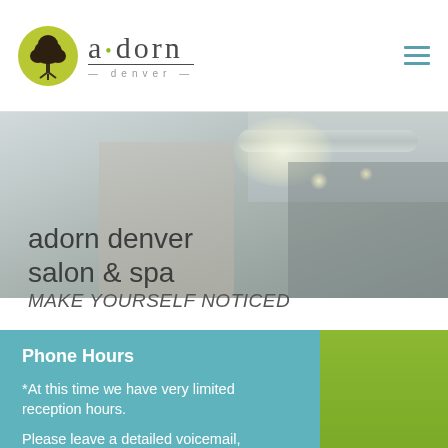[Figure (logo): Adorn Denver salon logo: yellow-green circle with tree silhouette, text 'a·dorn' with underline and 'denver' below]
[Figure (photo): Interior of salon/spa with chandelier, stone wall, ceiling ducts, and soft lighting]
adorn denver salon & spa
MAKE YOURSELF NOTICED
Phone Hours
*At this time we have very limited reception hours.
Please leave a detailed voicemail,